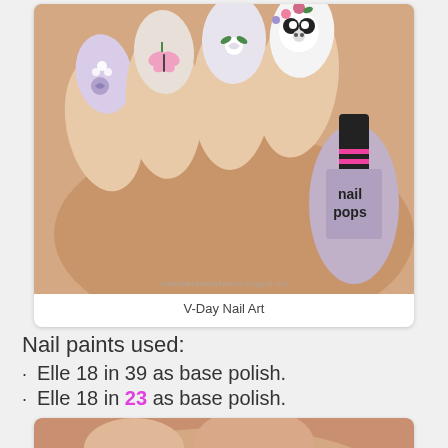[Figure (photo): Close-up photo of decorated fingernails with floral nail art (roses, flowers, butterfly) on pale lavender and white polish. A nail polish bottle labeled 'nail pops' is held in the same hand. Watermark reads makeupandbeautytreasure.blogspot.com]
V-Day Nail Art
Nail paints used:
Elle 18 in 39 as base polish.
Elle 18 in 23 as base polish.
[Figure (photo): Partial photo of hand/nails visible at bottom of page, cropped]